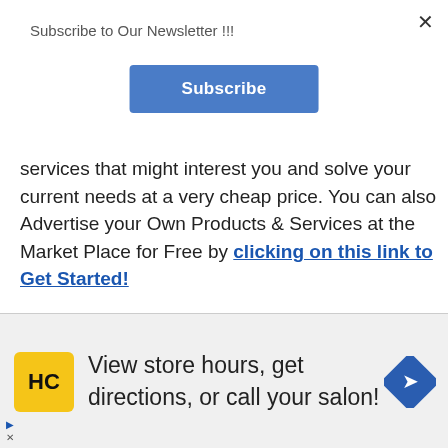Subscribe to Our Newsletter !!!
Subscribe
services that might interest you and solve your current needs at a very cheap price. You can also Advertise your Own Products & Services at the Market Place for Free by clicking on this link to Get Started!
Create a thread for all your related questions to get answers from other members and professionals in the field. Click here on the “Questions & Answers”
ion to view and submit your Questions or
[Figure (infographic): Advertisement banner: HC logo (yellow square with black HC text), text 'View store hours, get directions, or call your salon!', blue diamond navigation icon on right. Small play and close icons on bottom left.]